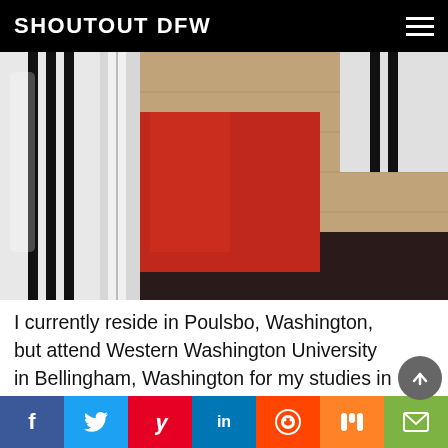SHOUTOUT DFW
[Figure (photo): Close-up photo of a person wearing a white Adidas track jacket with black stripes over a red top and dark pants, standing against a brown wooden wall background]
I currently reside in Poulsbo, Washington, but attend Western Washington University in Bellingham, Washington for my studies in Computer Science and Entrepreneurship & Innovation. However, I actually was not born in
Social sharing bar: Facebook, Twitter, Pinterest, LinkedIn, Reddit, Mix, Email